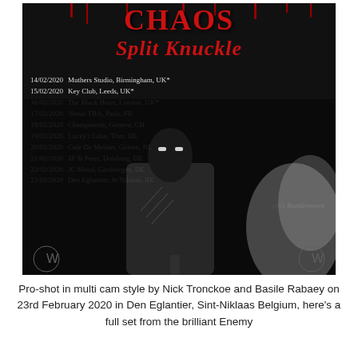[Figure (photo): Concert tour poster on black background with red gothic text showing band names and tour dates for 14/02/2020-23/02/2020. Features a black and white photo of a masked figure holding a weapon with smoke/fire. Tour dates across UK, France, Switzerland, Germany, Netherlands, and Belgium. 'Split Knuckle' tour with 'Bandeymont'.]
Pro-shot in multi cam style by Nick Tronckoe and Basile Rabaey on 23rd February 2020 in Den Eglantier, Sint-Niklaas Belgium, here's a full set from the brilliant Enemy